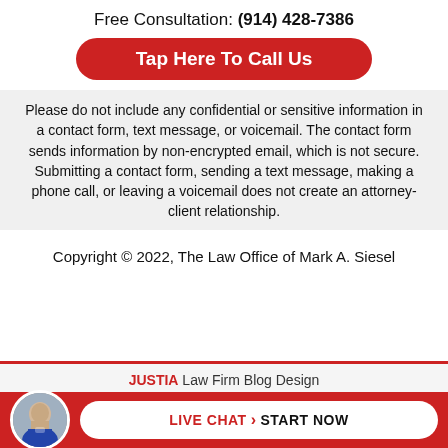Free Consultation: (914) 428-7386
Tap Here To Call Us
Please do not include any confidential or sensitive information in a contact form, text message, or voicemail. The contact form sends information by non-encrypted email, which is not secure. Submitting a contact form, sending a text message, making a phone call, or leaving a voicemail does not create an attorney-client relationship.
Copyright © 2022, The Law Office of Mark A. Siesel
JUSTIA Law Firm Blog Design
LIVE CHAT › START NOW